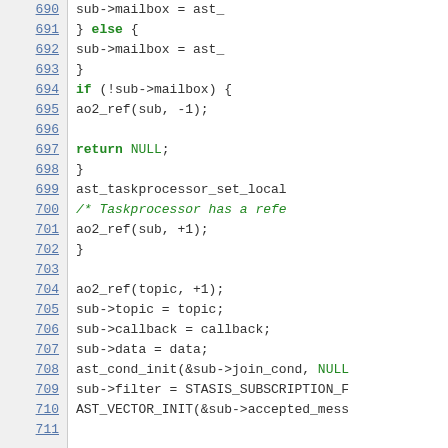[Figure (screenshot): Source code listing showing lines 690-710 of a C program. Line numbers appear on the left as blue underlined links. Code includes mailbox assignment, if block checking sub->mailbox, ao2_ref calls, return NULL, ast_taskprocessor_set_local call, comment about Taskprocessor reference, closing braces, and then ao2_ref, sub->topic, sub->callback, sub->data assignments, ast_cond_init, sub->filter, and AST_VECTOR_INIT calls.]